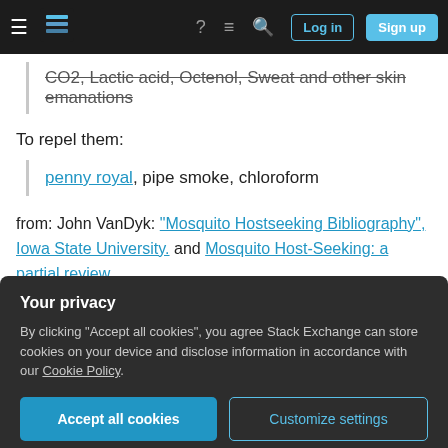Stack Exchange navigation bar with Log in and Sign up buttons
CO2, Lactic acid, Octenol, Sweat and other skin emanations
To repel them:
penny royal, pipe smoke, chloroform
from: John VanDyk: "Mosquito Hostseeking Bibliography", Iowa State University. and Mosquito Host-Seeking: a partial review
Your privacy
By clicking "Accept all cookies", you agree Stack Exchange can store cookies on your device and disclose information in accordance with our Cookie Policy.
Accept all cookies   Customize settings
EOs are good candidates as repellent